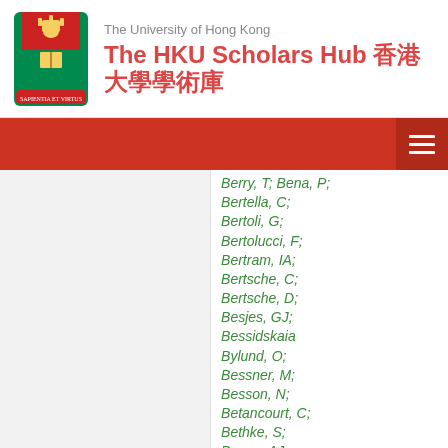The University of Hong Kong — The HKU Scholars Hub 香港大學學術庫
Berry, T; Bena, P;
Bertella, C;
Bertoli, G;
Bertolucci, F;
Bertram, IA;
Bertsche, C;
Bertsche, D;
Besjes, GJ;
Bessidskaia Bylund, O;
Bessner, M;
Besson, N;
Betancourt, C;
Bethke, S;
Bevan, AJ;
Bianchi, RM;
Bianchini, L;
Bianco, M;